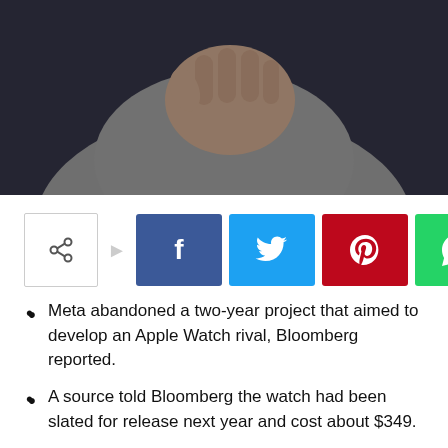[Figure (photo): Close-up photo of a person wearing a grey sweater with their hand raised near their chest/chin, dark background]
[Figure (infographic): Social share bar with a share icon button, followed by Facebook (blue), Twitter (cyan), Pinterest (red), and WhatsApp (green) buttons]
Meta abandoned a two-year project that aimed to develop an Apple Watch rival, Bloomberg reported.
A source told Bloomberg the watch had been slated for release next year and cost about $349.
Meta has tightened its budgets recently, slowing investment in projects.